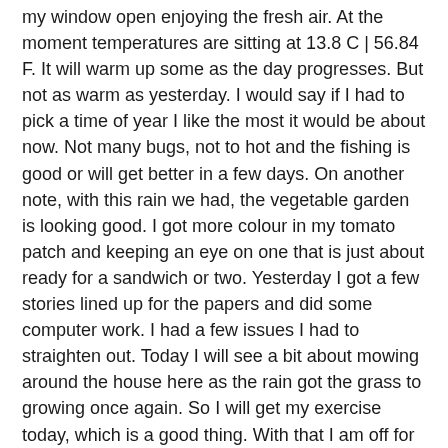my window open enjoying the fresh air. At the moment temperatures are sitting at 13.8 C | 56.84 F. It will warm up some as the day progresses. But not as warm as yesterday. I would say if I had to pick a time of year I like the most it would be about now. Not many bugs, not to hot and the fishing is good or will get better in a few days. On another note, with this rain we had, the vegetable garden is looking good. I got more colour in my tomato patch and keeping an eye on one that is just about ready for a sandwich or two. Yesterday I got a few stories lined up for the papers and did some computer work. I had a few issues I had to straighten out. Today I will see a bit about mowing around the house here as the rain got the grass to growing once again. So I will get my exercise today, which is a good thing. With that I am off for my morning cup of coffee. Have a great day.
Fishing Report
Friday